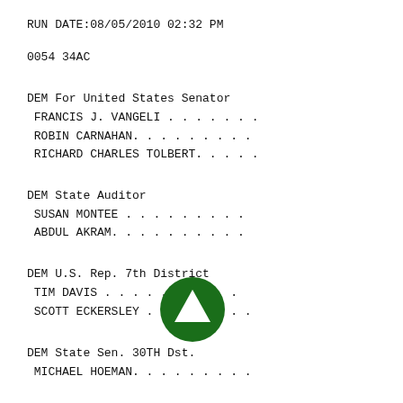RUN DATE:08/05/2010 02:32 PM
0054 34AC
DEM For United States Senator
FRANCIS J. VANGELI . . . . . . .
ROBIN CARNAHAN. . . . . . . . .
RICHARD CHARLES TOLBERT. . . . .
DEM State Auditor
SUSAN MONTEE . . . . . . . . .
ABDUL AKRAM. . . . . . . . . .
DEM U.S. Rep. 7th District
TIM DAVIS . . . . . . . . . .
SCOTT ECKERSLEY . . . . . . . .
DEM State Sen. 30TH Dst.
MICHAEL HOEMAN. . . . . . . . .